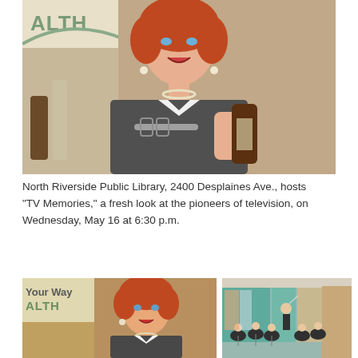[Figure (photo): Color photo of a red-haired woman in a houndstooth jacket holding a spoon and a brown bottle in front of a sign reading 'ALTH' (partial word, likely 'HEALTH'). Bottles visible in background.]
North Riverside Public Library, 2400 Desplaines Ave., hosts "TV Memories," a fresh look at the pioneers of television, on Wednesday, May 16 at 6:30 p.m.
[Figure (photo): Color photo of the same red-haired woman in houndstooth jacket, partial sign reading 'Your Way ALTH' in background.]
[Figure (photo): Color photo of an orchestra or ensemble performing in a hall with teal/green panels and curtain background, conductor visible.]